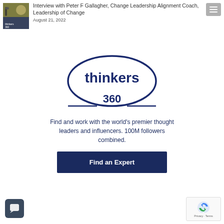[Figure (photo): Thumbnail image for podcast episode featuring Peter F Gallagher with thinkers360 branding]
Interview with Peter F Gallagher, Change Leadership Alignment Coach, Leadership of Change
August 21, 2022
[Figure (logo): Thinkers 360 logo - oval outline with 'thinkers 360' text in dark navy blue]
Find and work with the world's premier thought leaders and influencers. 100M followers combined.
Find an Expert